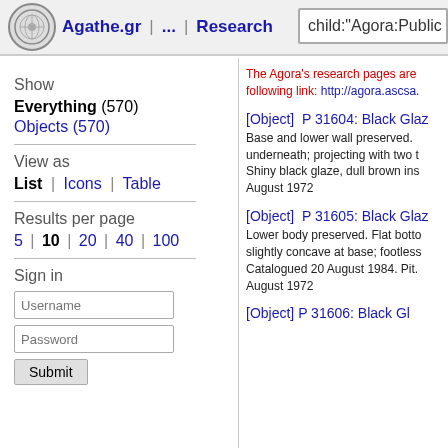Agathe.gr | ... | Research | child:"Agora:Public
Show
Everything (570)
Objects (570)
View as
List | Icons | Table
Results per page
5 | 10 | 20 | 40 | 100
Sign in
The Agora's research pages are following link: http://agora.ascsa.
[Object] P 31604: Black Glaz
Base and lower wall preserved. underneath; projecting with two t Shiny black glaze, dull brown ins August 1972
[Object] P 31605: Black Glaz
Lower body preserved. Flat botto slightly concave at base; footless Catalogued 20 August 1984. Pit. August 1972
[Object] P 31606: Black Gl